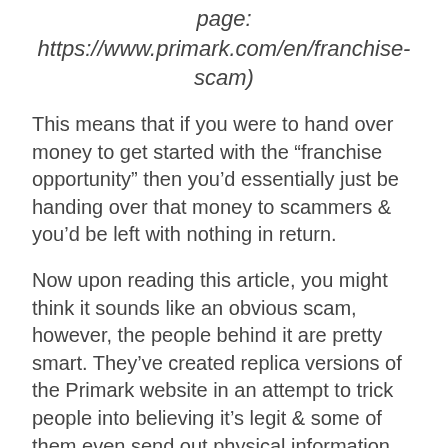page: https://www.primark.com/en/franchise-scam)
This means that if you were to hand over money to get started with the “franchise opportunity” then you’d essentially just be handing over that money to scammers & you’d be left with nothing in return.
Now upon reading this article, you might think it sounds like an obvious scam, however, the people behind it are pretty smart. They’ve created replica versions of the Primark website in an attempt to trick people into believing it’s legit & some of them even send out physical information